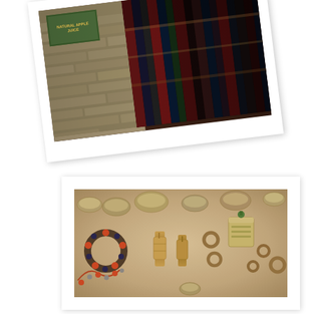[Figure (photo): Polaroid-style rotated photograph showing a market or shop scene with a 'Natural Apple Juice' sign on a green board, rough stone wall, and colorful woven textiles/rugs hanging in the background]
[Figure (photo): Straight polaroid-style photograph showing an assortment of Tibetan/Nepali artifacts laid out on a pale surface, including small brass bowls, beaded bracelets, prayer wheels, rings, necklaces, and decorative cups]